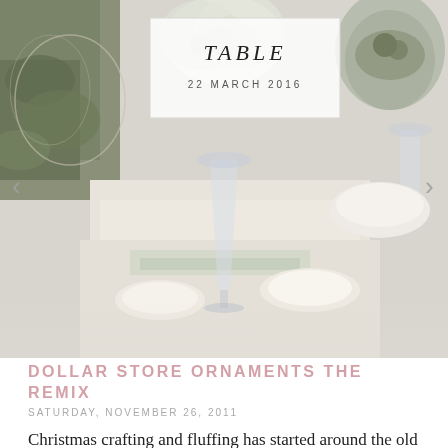[Figure (photo): A styled table setting photograph showing flowers, glassware, and tableware. Has navigation arrows on left and right sides. In the center is an overlay box with italic title 'TABLE' and date '22 MARCH 2016'.]
DOLLAR STORE ORNAMENTS THE REMIX
SATURDAY, NOVEMBER 26, 2011
Christmas crafting and fluffing has started around the old homestead. I'm trying to keep it simple and thrifty this year. Every year I try to add  a few new ornaments. Last year it was all